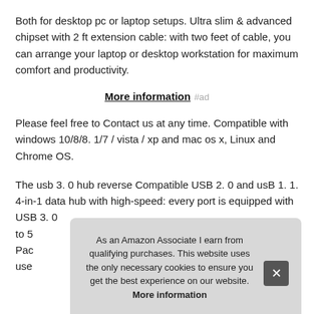Both for desktop pc or laptop setups. Ultra slim & advanced chipset with 2 ft extension cable: with two feet of cable, you can arrange your laptop or desktop workstation for maximum comfort and productivity.
More information #ad
Please feel free to Contact us at any time. Compatible with windows 10/8/8. 1/7 / vista / xp and mac os x, Linux and Chrome OS.
The usb 3. 0 hub reverse Compatible USB 2. 0 and usB 1. 1. 4-in-1 data hub with high-speed: every port is equipped with USB 3. 0 ... to 5 ... Pac ... use...
As an Amazon Associate I earn from qualifying purchases. This website uses the only necessary cookies to ensure you get the best experience on our website. More information